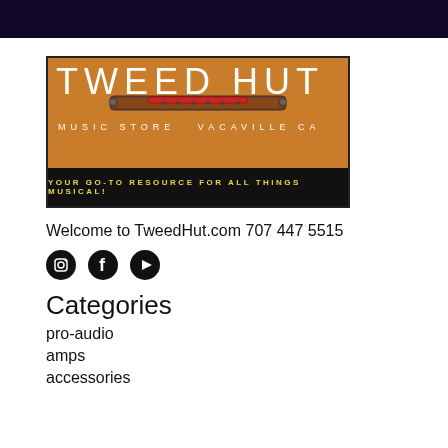[Figure (logo): Tweed Hut Music Store logo with orange tweed texture background, guitar pickup, text 'TWEED HUT', 'MUSIC STORE  VACAVILLE CA', and tagline 'YOUR GO-TO RESOURCE FOR ALL THINGS MUSICAL!']
Welcome to TweedHut.com 707 447 5515
[Figure (infographic): Social media icons: Instagram, Facebook, YouTube]
Categories
pro-audio
amps
accessories